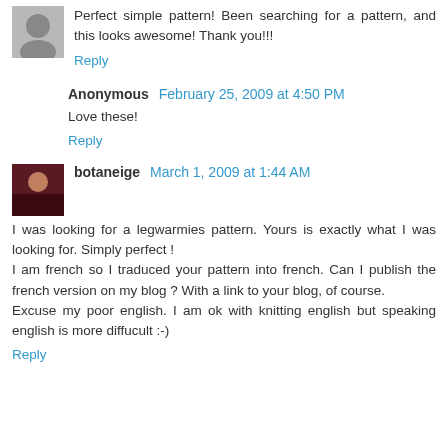Perfect simple pattern! Been searching for a pattern, and this looks awesome! Thank you!!!
Reply
Anonymous February 25, 2009 at 4:50 PM
Love these!
Reply
botaneige March 1, 2009 at 1:44 AM
I was looking for a legwarmies pattern. Yours is exactly what I was looking for. Simply perfect ! I am french so I traduced your pattern into french. Can I publish the french version on my blog ? With a link to your blog, of course. Excuse my poor english. I am ok with knitting english but speaking english is more diffucult :-)
Reply